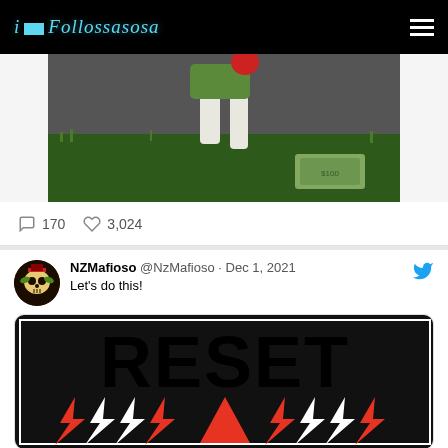i Follossasosa
[Figure (photo): Partial photo showing animal legs on grass with dollar bills on ground]
170   3,024
NZMafioso @NzMafioso · Dec 1, 2021
Let's do this!
[Figure (photo): RESET graphic with bold black text and black/red/white lightning bolt design pattern]
comment and like icons